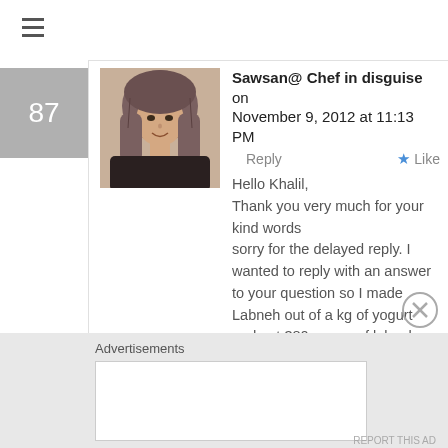[Figure (other): Hamburger menu icon (three horizontal lines) in top-left corner]
87
[Figure (photo): Profile photo of a woman wearing a hijab]
Sawsan@ Chef in disguise on November 9, 2012 at 11:13 PM
Reply
Like
Hello Khalil,
Thank you very much for your kind words
sorry for the delayed reply. I wanted to reply with an answer to your question so I made Labneh out of a kg of yogurt and got 380 grams of labneh
The amount of course depends on many factors as you mentioned.
This yield came from 3 hours of
Advertisements